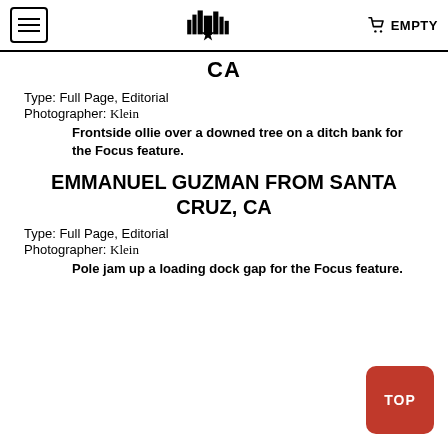CA
Type: Full Page, Editorial
Photographer: Klein
Frontside ollie over a downed tree on a ditch bank for the Focus feature.
EMMANUEL GUZMAN FROM SANTA CRUZ, CA
Type: Full Page, Editorial
Photographer: Klein
Pole jam up a loading dock gap for the Focus feature.